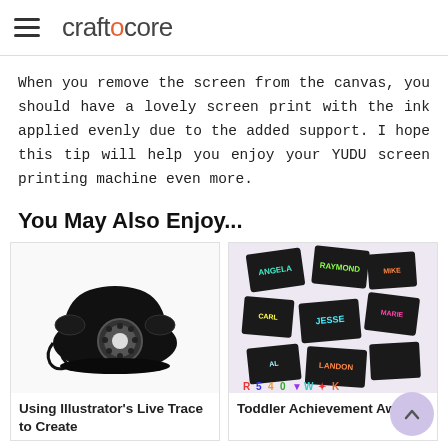craftcore
When you remove the screen from the canvas, you should have a lovely screen print with the ink applied evenly due to the added support. I hope this tip will help you enjoy your YUDU screen printing machine even more.
You May Also Enjoy...
[Figure (illustration): Black and white illustration of a vintage rotary telephone]
[Figure (photo): Photo of colorful toddler achievement award badges with names like RAYMOND, JESSE, LANDON, ANGELA arranged on a white background with letter magnets]
Using Illustrator's Live Trace to Create
Toddler Achievement Award